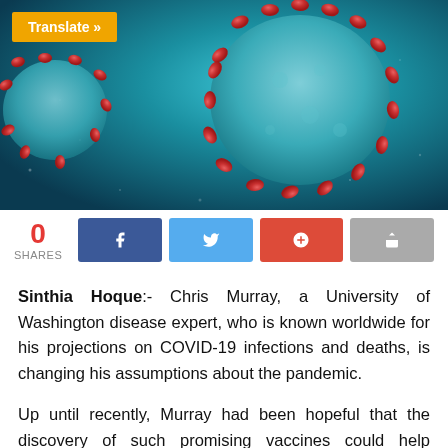[Figure (photo): Close-up illustration of coronavirus particles (red spike proteins on teal/blue sphere) on a blue background with a 'Translate »' button overlay.]
0 SHARES
Social share buttons: Facebook, Twitter, Google+, Share
Sinthia Hoque:- Chris Murray, a University of Washington disease expert, who is known worldwide for his projections on COVID-19 infections and deaths, is changing his assumptions about the pandemic.
Up until recently, Murray had been hopeful that the discovery of such promising vaccines could help countries achieve immunity and potentially eliminate transmission through inoculation and previous infection.